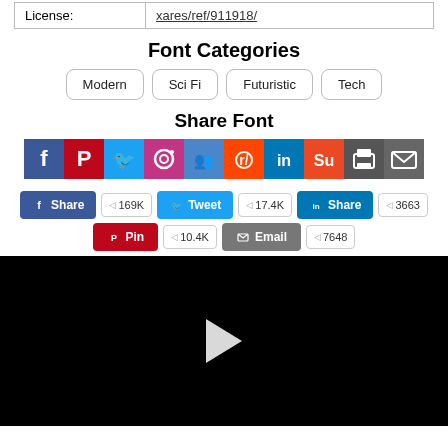| License: | xares/ref/911918/ |
| --- | --- |
Font Categories
Modern
Sci Fi
Futuristic
Tech
Share Font
[Figure (infographic): Row of social media share icons: Facebook, Pinterest, Twitter, Instagram, MySpace/groups, Reddit, LinkedIn, StumbleUpon, Print, Email]
[Figure (infographic): Share buttons row 1: Facebook Share 169K, Tweet 17.4K, LinkedIn Share 3663]
[Figure (infographic): Share buttons row 2: Pinterest Pin 10.4K, Email 7648]
[Figure (screenshot): Black video player area with white play button triangle in center]